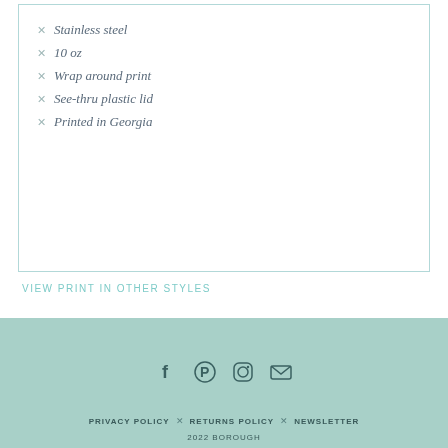Stainless steel
10 oz
Wrap around print
See-thru plastic lid
Printed in Georgia
VIEW PRINT IN OTHER STYLES
[Figure (photo): Four ceramic mugs with different colorful patterns: floral pink/green, dark navy with pink pattern, teal/mint geometric, and white with colorful bow/bicycle pattern]
PRIVACY POLICY × RETURNS POLICY × NEWSLETTER
2022 BOROUGH